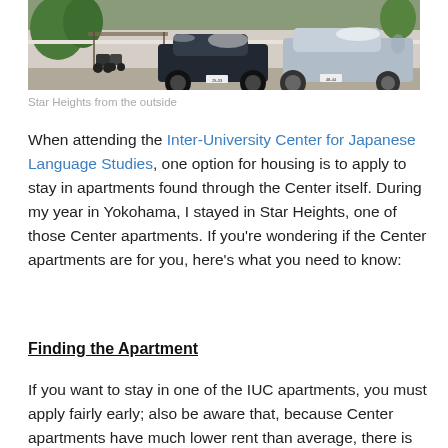[Figure (photo): Exterior view of Star Heights apartment building with cars parked in the foreground and trees/vegetation visible.]
Star Heights from the outside
When attending the Inter-University Center for Japanese Language Studies, one option for housing is to apply to stay in apartments found through the Center itself. During my year in Yokohama, I stayed in Star Heights, one of those Center apartments. If you're wondering if the Center apartments are for you, here's what you need to know:
Finding the Apartment
If you want to stay in one of the IUC apartments, you must apply fairly early; also be aware that, because Center apartments have much lower rent than average, there is